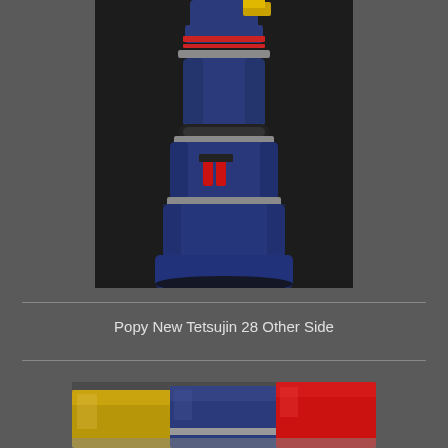[Figure (photo): Close-up photo of a blue robot toy leg/body section (Popy New Tetsujin 28), showing metallic silver bands, red accents, and a dark background]
Popy New Tetsujin 28 Other Side
[Figure (photo): Partial bottom photo showing the lower portion of robot toy figures with gold/yellow, blue, and red colored sections against a metallic background]